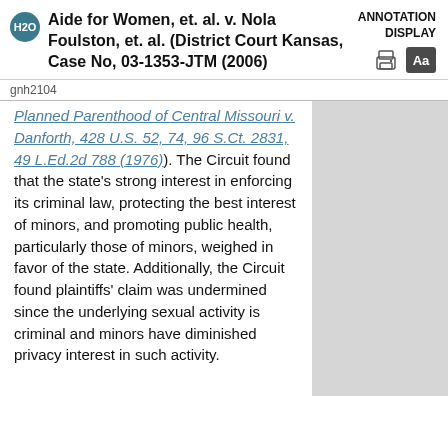Aide for Women, et. al. v. Nola Foulston, et. al. (District Court Kansas, Case No, 03-1353-JTM (2006)
ANNOTATION DISPLAY
gnh2104
Planned Parenthood of Central Missouri v. Danforth, 428 U.S. 52, 74, 96 S.Ct. 2831, 49 L.Ed.2d 788 (1976)). The Circuit found that the state's strong interest in enforcing its criminal law, protecting the best interest of minors, and promoting public health, particularly those of minors, weighed in favor of the state. Additionally, the Circuit found plaintiffs' claim was undermined since the underlying sexual activity is criminal and minors have diminished privacy interest in such activity.